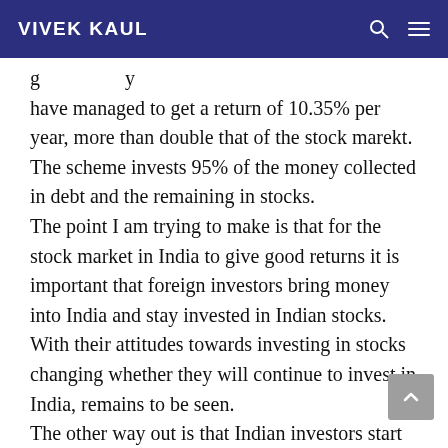VIVEK KAUL
have managed to get a return of 10.35% per year, more than double that of the stock marekt. The scheme invests 95% of the money collected in debt and the remaining in stocks. The point I am trying to make is that for the stock market in India to give good returns it is important that foreign investors bring money into India and stay invested in Indian stocks. With their attitudes towards investing in stocks changing whether they will continue to invest in India, remains to be seen. The other way out is that Indian investors start investing more money in the stock market but th